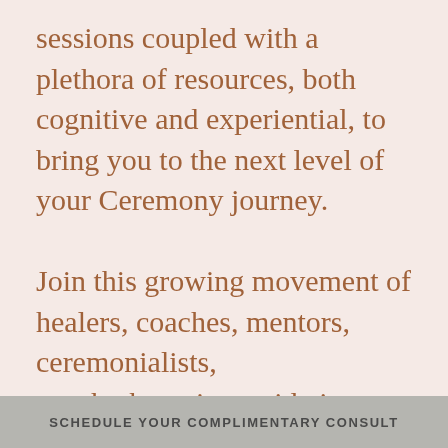sessions coupled with a plethora of resources, both cognitive and experiential, to bring you to the next level of your Ceremony journey.

Join this growing movement of healers, coaches, mentors, ceremonialists, psychotherapists, midwives, doulas, nurses, hospital administers, and physicians!
SCHEDULE YOUR COMPLIMENTARY CONSULT